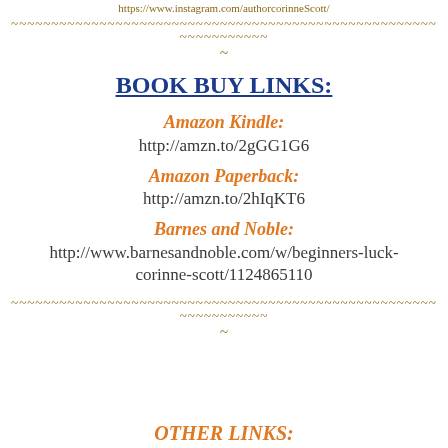https://www.instagram.com/authorcorinneScott/
~~~~~~~~~~~~~~~~~~~~~~~~~~~~~~~~~~~~~~~~~~~~~~~~~~~~~~~~~~~~~~~~
~
BOOK BUY LINKS:
Amazon Kindle:
http://amzn.to/2gGG1G6
Amazon Paperback:
http://amzn.to/2hIqKT6
Barnes and Noble:
http://www.barnesandnoble.com/w/beginners-luck-corinne-scott/1124865110
~~~~~~~~~~~~~~~~~~~~~~~~~~~~~~~~~~~~~~~~~~~~~~~~~~~~~~~~~~~~~~~~
~
OTHER LINKS: